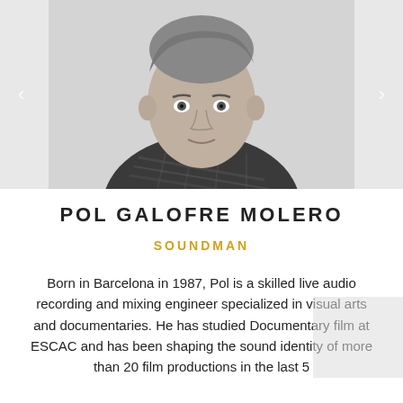[Figure (photo): Black and white headshot portrait of Pol Galofre Molero, a young man with swept-back hair wearing a plaid shirt, against a light gray background. Navigation arrows on left and right sides.]
POL GALOFRE MOLERO
SOUNDMAN
Born in Barcelona in 1987, Pol is a skilled live audio recording and mixing engineer specialized in visual arts and documentaries. He has studied Documentary film at ESCAC and has been shaping the sound identity of more than 20 film productions in the last 5